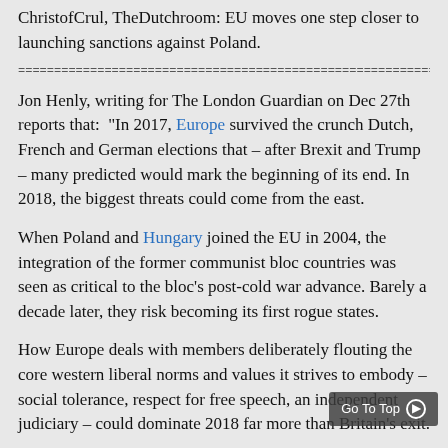ChristofCrul, TheDutchroom: EU moves one step closer to launching sanctions against Poland.
================================================================
Jon Henly, writing for The London Guardian on Dec 27th reports that: "In 2017, Europe survived the crunch Dutch, French and German elections that – after Brexit and Trump – many predicted would mark the beginning of its end. In 2018, the biggest threats could come from the east.
When Poland and Hungary joined the EU in 2004, the integration of the former communist bloc countries was seen as critical to the bloc's post-cold war advance. Barely a decade later, they risk becoming its first rogue states.
How Europe deals with members deliberately flouting the core western liberal norms and values it strives to embody – social tolerance, respect for free speech, an independent judiciary – could dominate 2018 far more than Britain's exit.
Brussels this month triggered a process likely to lead to an unprecedented formal warning to Poland that "fundamental values" are at risk as relations with the EU continue to sour